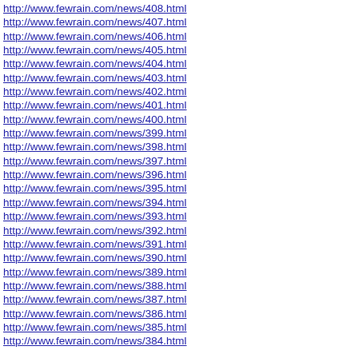http://www.fewrain.com/news/408.html
http://www.fewrain.com/news/407.html
http://www.fewrain.com/news/406.html
http://www.fewrain.com/news/405.html
http://www.fewrain.com/news/404.html
http://www.fewrain.com/news/403.html
http://www.fewrain.com/news/402.html
http://www.fewrain.com/news/401.html
http://www.fewrain.com/news/400.html
http://www.fewrain.com/news/399.html
http://www.fewrain.com/news/398.html
http://www.fewrain.com/news/397.html
http://www.fewrain.com/news/396.html
http://www.fewrain.com/news/395.html
http://www.fewrain.com/news/394.html
http://www.fewrain.com/news/393.html
http://www.fewrain.com/news/392.html
http://www.fewrain.com/news/391.html
http://www.fewrain.com/news/390.html
http://www.fewrain.com/news/389.html
http://www.fewrain.com/news/388.html
http://www.fewrain.com/news/387.html
http://www.fewrain.com/news/386.html
http://www.fewrain.com/news/385.html
http://www.fewrain.com/news/384.html